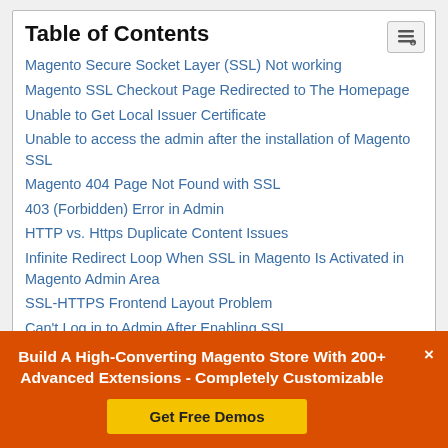Table of Contents
Magento Secure Socket Layer (SSL) Not working
Magento SSL Checkout Page Redirected to The Homepage
Unable to Get Local Issuer Certificate
Unable to access the admin after the installation of Magento SSL
Magento 404 Page Not Found with SSL
403 (Forbidden) Error in Admin
HTTP vs. Https Duplicate Content Issues
Infinite Redirect Loop When SSL in Magento Is Activated in Magento Admin Area
SSL-HTTPS Frontend Layout Problem
Can't Log in to Admin After Enabling SSL
Conclusion
Build A High-Converting Magento Store With 200+ Advanced Extensions - Completely Customizable
Get Free Demos